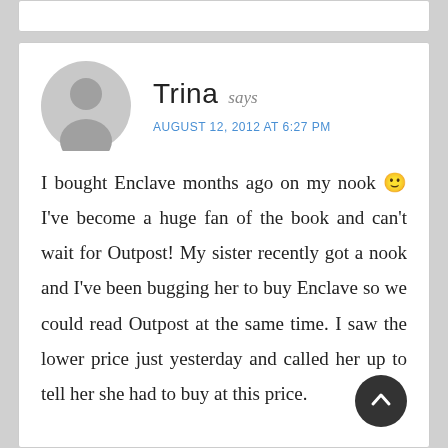Trina says
AUGUST 12, 2012 AT 6:27 PM
I bought Enclave months ago on my nook 🙂 I've become a huge fan of the book and can't wait for Outpost! My sister recently got a nook and I've been bugging her to buy Enclave so we could read Outpost at the same time. I saw the lower price just yesterday and called her up to tell her she had to buy at this price. Crossing my fingers for more news of Outpost...